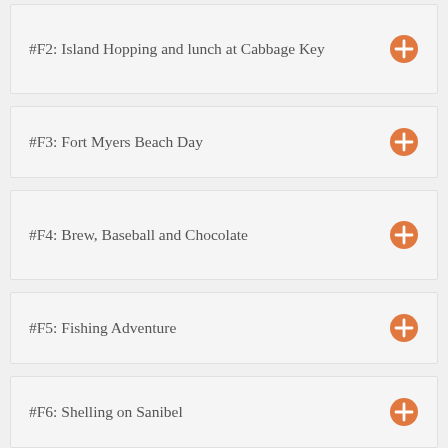#F2: Island Hopping and lunch at Cabbage Key
#F3: Fort Myers Beach Day
#F4: Brew, Baseball and Chocolate
#F5: Fishing Adventure
#F6: Shelling on Sanibel
#F7: Offshore Sailing School